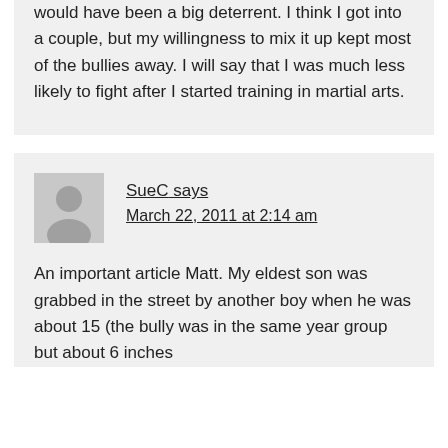would have been a big deterrent. I think I got into a couple, but my willingness to mix it up kept most of the bullies away. I will say that I was much less likely to fight after I started training in martial arts.
SueC says March 22, 2011 at 2:14 am
An important article Matt. My eldest son was grabbed in the street by another boy when he was about 15 (the bully was in the same year group but about 6 inches